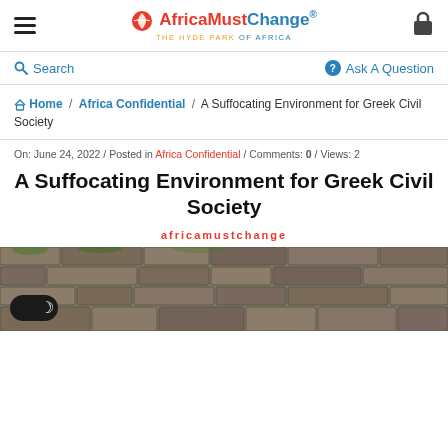AfricaMustChange® — THE HYDE PARK OF AFRICA
Search | Ask A Question
Home / Africa Confidential / A Suffocating Environment for Greek Civil Society
On: June 24, 2022 / Posted in Africa Confidential / Comments: 0 / Views: 2
A Suffocating Environment for Greek Civil Society
africamustchange
[Figure (photo): Stone wall photograph with dark mode toggle button overlay in bottom-left corner]